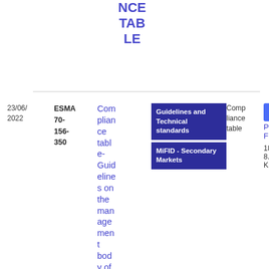NCE TABLE
| Date | Reference | Title | Type | Compliance table | PDF |
| --- | --- | --- | --- | --- | --- |
| 23/06/2022 | ESMA 70-156-350 | Compliance table- Guidelines on the management body of market oper… | Guidelines and Technical standards / MiFID - Secondary Markets | Compliance table | PDF 188.98 KB |